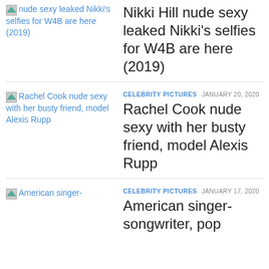[Figure (other): Thumbnail image for Nikki Hill article with blue link text]
Nikki Hill nude sexy leaked Nikki's selfies for W4B are here (2019)
[Figure (other): Thumbnail image for Rachel Cook article with blue link text]
CELEBRITY PICTURES  JANUARY 20, 2020
Rachel Cook nude sexy with her busty friend, model Alexis Rupp
[Figure (other): Thumbnail image for American singer-songwriter article with blue link text]
CELEBRITY PICTURES  JANUARY 17, 2020
American singer-songwriter, pop